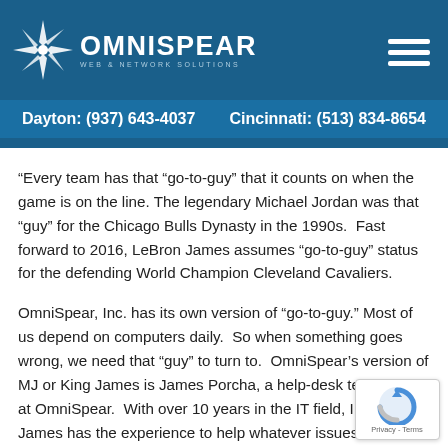[Figure (logo): OmniSpear logo with star/starburst graphic and text 'OMNISPEAR web & network solutions' on dark blue background]
Dayton: (937) 643-4037    Cincinnati: (513) 834-8654
“Every team has that “go-to-guy” that it counts on when the game is on the line. The legendary Michael Jordan was that “guy” for the Chicago Bulls Dynasty in the 1990s. Fast forward to 2016, LeBron James assumes “go-to-guy” status for the defending World Champion Cleveland Cavaliers.
OmniSpear, Inc. has its own version of “go-to-guy.” Most of us depend on computers daily. So when something goes wrong, we need that “guy” to turn to. OmniSpear’s version of MJ or King James is James Porcha, a help-desk technician at OmniSpear. With over 10 years in the IT field, I know James has the experience to help whatever issues arise.
[Figure (logo): reCAPTCHA badge with Privacy and Terms links]